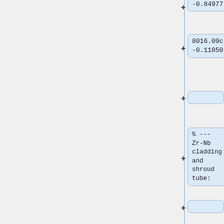-0.84977
8016.09c
-0.11850
% --- Zr-Nb cladding and shroud tube:
mat clad
-6.55000
40000.06c
-0.99000
41093.06c
-0.01000
% --- Water with